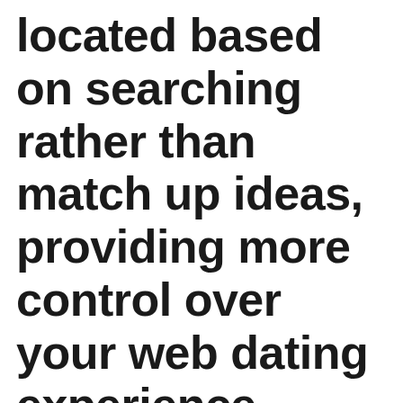located based on searching rather than match up ideas, providing more control over your web dating experience. OKCupid has a fun, laid-back feel to it, and users